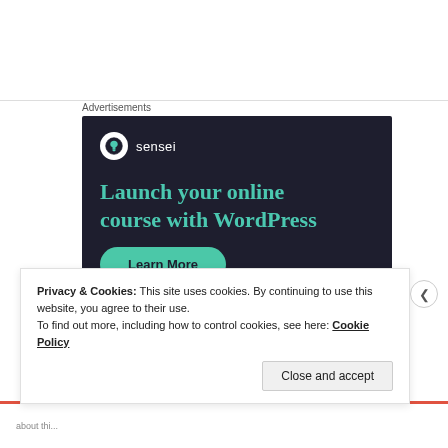Advertisements
[Figure (infographic): Sensei advertisement banner with dark background. Shows Sensei logo (tree icon in white circle), brand name 'sensei', headline 'Launch your online course with WordPress' in teal, and a 'Learn More' button in teal.]
Privacy & Cookies: This site uses cookies. By continuing to use this website, you agree to their use.
To find out more, including how to control cookies, see here: Cookie Policy
Close and accept